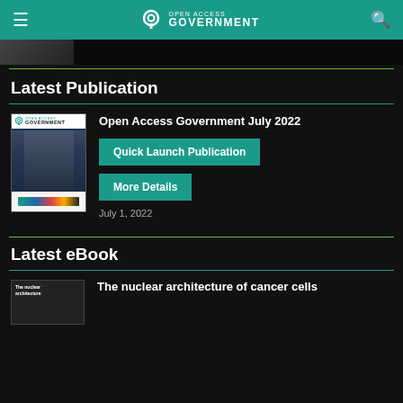Open Access Government
[Figure (photo): Partial thumbnail image strip at top]
Latest Publication
[Figure (photo): Cover of Open Access Government July 2022 magazine showing a man in a suit]
Open Access Government July 2022
Quick Launch Publication
More Details
July 1, 2022
Latest eBook
[Figure (photo): Cover of The nuclear architecture of cancer cells eBook]
The nuclear architecture of cancer cells